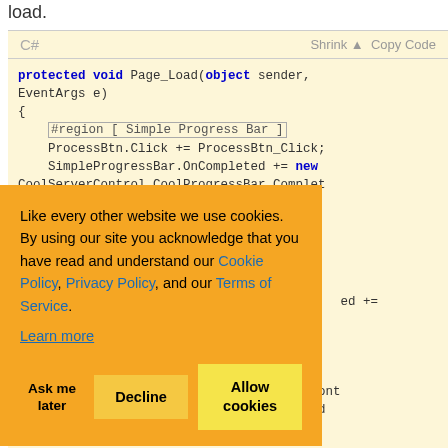load.
[Figure (screenshot): C# code snippet showing Page_Load method with ProcessBtn.Click and SimpleProgressBar.OnCompleted event handler assignments, plus region markers. Background is light yellow/cream.]
Like every other website we use cookies. By using our site you acknowledge that you have read and understand our Cookie Policy, Privacy Policy, and our Terms of Service.
Learn more
Ask me later   Decline   Allow cookies